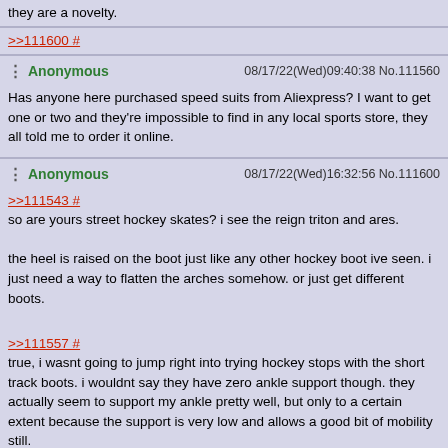they are a novelty.
>>111600 #
Anonymous  08/17/22(Wed)09:40:38 No.111560
Has anyone here purchased speed suits from Aliexpress? I want to get one or two and they're impossible to find in any local sports store, they all told me to order it online.
Anonymous  08/17/22(Wed)16:32:56 No.111600
>>111543 #
so are yours street hockey skates? i see the reign triton and ares.

the heel is raised on the boot just like any other hockey boot ive seen. i just need a way to flatten the arches somehow. or just get different boots.

>>111557 #
true, i wasnt going to jump right into trying hockey stops with the short track boots. i wouldnt say they have zero ankle support though. they actually seem to support my ankle pretty well, but only to a certain extent because the support is very low and allows a good bit of mobility still.

any recommendations on hockey skates? they all look really